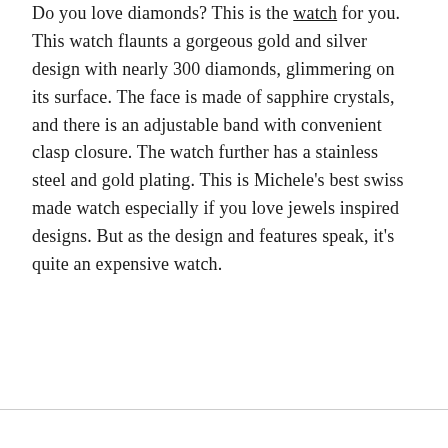Do you love diamonds? This is the watch for you. This watch flaunts a gorgeous gold and silver design with nearly 300 diamonds, glimmering on its surface. The face is made of sapphire crystals, and there is an adjustable band with convenient clasp closure. The watch further has a stainless steel and gold plating. This is Michele's best swiss made watch especially if you love jewels inspired designs. But as the design and features speak, it's quite an expensive watch.